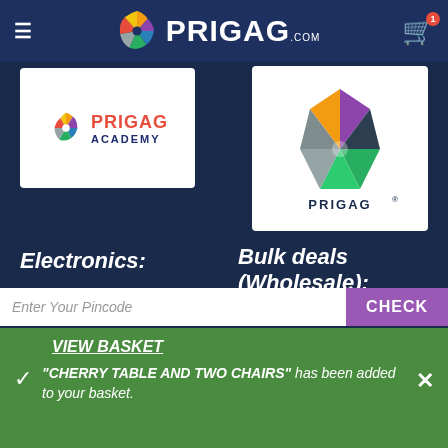PRIGAG.COM
[Figure (logo): Prigag Academy logo with multicolor pinwheel icon and red PRIGAG text with blue ACADEMY text]
[Figure (logo): Prigag brand logo with multicolor 3D pinwheel/gem icon and PRIGAG registered trademark]
Electronics:
Mobiles
Mobile Accessories
Televisions (TVs)
Bulk deals (Wholesale):
watches
Enter Your Pincode
CHECK
VIEW BASKET
"CHERRY TABLE AND TWO CHAIRS" has been added to your basket.